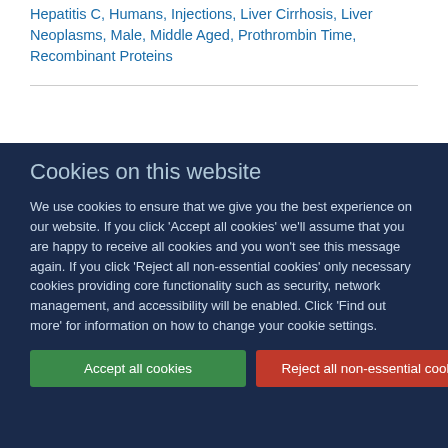Hepatitis C, Humans, Injections, Liver Cirrhosis, Liver Neoplasms, Male, Middle Aged, Prothrombin Time, Recombinant Proteins
Cookies on this website
We use cookies to ensure that we give you the best experience on our website. If you click 'Accept all cookies' we'll assume that you are happy to receive all cookies and you won't see this message again. If you click 'Reject all non-essential cookies' only necessary cookies providing core functionality such as security, network management, and accessibility will be enabled. Click 'Find out more' for information on how to change your cookie settings.